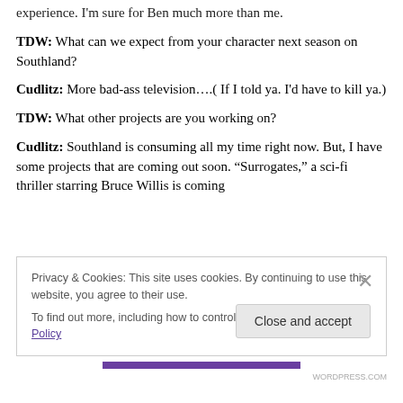experience. I'm sure for Ben much more than me.
TDW: What can we expect from your character next season on Southland?
Cudlitz: More bad-ass television….( If I told ya. I'd have to kill ya.)
TDW: What other projects are you working on?
Cudlitz: Southland is consuming all my time right now. But, I have some projects that are coming out soon. “Surrogates,” a sci-fi thriller starring Bruce Willis is coming
Privacy & Cookies: This site uses cookies. By continuing to use this website, you agree to their use.
To find out more, including how to control cookies, see here: Cookie Policy
Close and accept